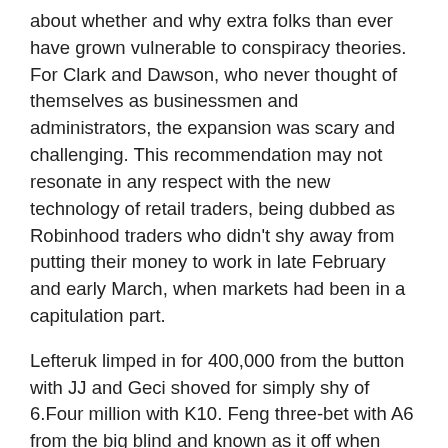about whether and why extra folks than ever have grown vulnerable to conspiracy theories. For Clark and Dawson, who never thought of themselves as businessmen and administrators, the expansion was scary and challenging. This recommendation may not resonate in any respect with the new technology of retail traders, being dubbed as Robinhood traders who didn’t shy away from putting their money to work in late February and early March, when markets had been in a capitulation part.
Lefteruk limped in for 400,000 from the button with JJ and Geci shoved for simply shy of 6.Four million with K10. Feng three-bet with A6 from the big blind and known as it off when Zhao 4-wager shoved. Unfortunatley for him, his pocket fours ran in to the pocket jacks of Feng. The highest three gamers all earned six-figure paydays, with the biggest going to eventual champion Huahuan “F7588” Feng. However, on account of statutory limitations, the Nevada Gaming Control Board doesn’t